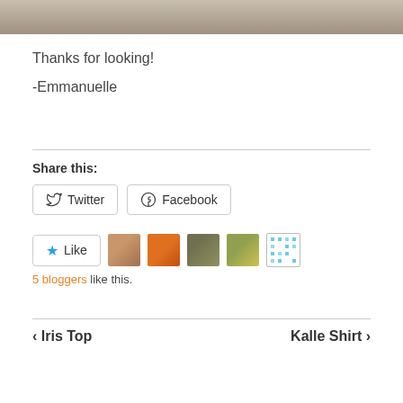[Figure (photo): Partial photo strip at the top showing stone/pebble surface with a white object]
Thanks for looking!
-Emmanuelle
Share this:
Twitter  Facebook
[Figure (infographic): Like button with star icon, five blogger avatars, and '5 bloggers like this.' text]
< Iris Top    Kalle Shirt >